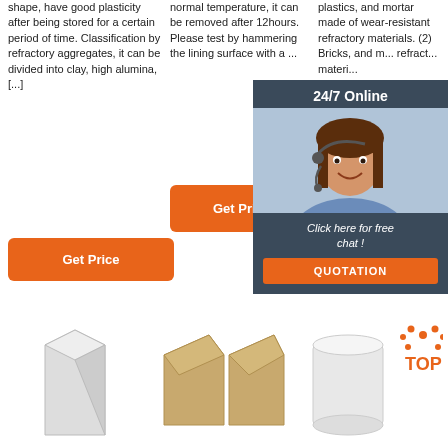shape, have good plasticity after being stored for a certain period of time. Classification by refractory aggregates, it can be divided into clay, high alumina, [...]
normal temperature, it can be removed after 12hours. Please test by hammering the lining surface with a ...
plastics, and mortar made of wear-resistant refractory materials. (2) Bricks, and mortar made of refractory materials.
[Figure (photo): Customer service chat widget with agent photo, 24/7 Online header, 'Click here for free chat!' text, and QUOTATION button]
[Figure (photo): White refractory brick product image]
[Figure (photo): Tan/beige wedge-shaped refractory bricks product image]
[Figure (photo): White cylindrical refractory product with TOP badge overlay]